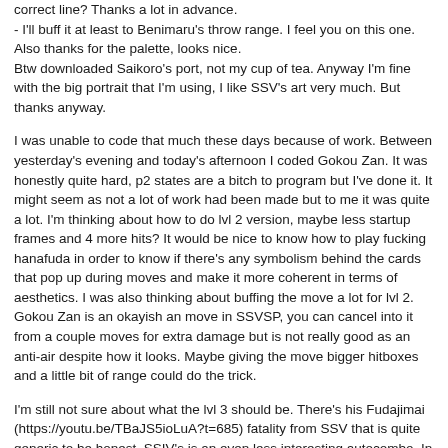correct line? Thanks a lot in advance.
- I'll buff it at least to Benimaru's throw range. I feel you on this one.
Also thanks for the palette, looks nice.
Btw downloaded Saikoro's port, not my cup of tea. Anyway I'm fine with the big portrait that I'm using, I like SSV's art very much. But thanks anyway.
I was unable to code that much these days because of work. Between yesterday's evening and today's afternoon I coded Gokou Zan. It was honestly quite hard, p2 states are a bitch to program but I've done it. It might seem as not a lot of work had been made but to me it was quite a lot. I'm thinking about how to do lvl 2 version, maybe less startup frames and 4 more hits? It would be nice to know how to play fucking hanafuda in order to know if there's any symbolism behind the cards that pop up during moves and make it more coherent in terms of aesthetics. I was also thinking about buffing the move a lot for lvl 2. Gokou Zan is an okayish an move in SSVSP, you can cancel into it from a couple moves for extra damage but is not really good as an anti-air despite how it looks. Maybe giving the move bigger hitboxes and a little bit of range could do the trick.
I'm still not sure about what the lvl 3 should be. There's his Fudajimai (https://youtu.be/TBaJS5ioLuA?t=685) fatality from SSV that is quite generic to be honest. SSIV's is an even less interesting autocombo. In SSVI he has this stupid shoryureppa like move that I guess is based on his rekkas from bust genjuro, and is as generic. btw fuck SSVI.